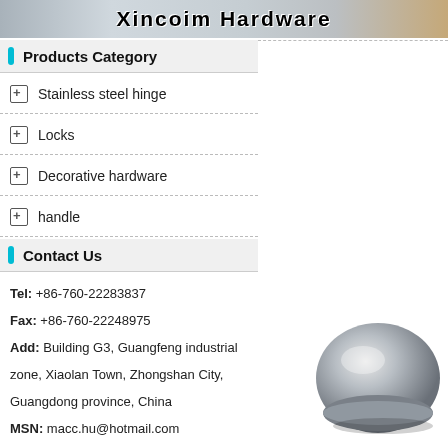Xincoim Hardware
Products Category
Stainless steel hinge
Locks
Decorative hardware
handle
Contact Us
Tel: +86-760-22283837
Fax: +86-760-22248975
Add: Building G3, Guangfeng industrial zone, Xiaolan Town, Zhongshan City, Guangdong province, China
MSN: macc.hu@hotmail.com
[Figure (photo): Metal hardware handle/knob product photo, silver/grey colored, shown from an angle]